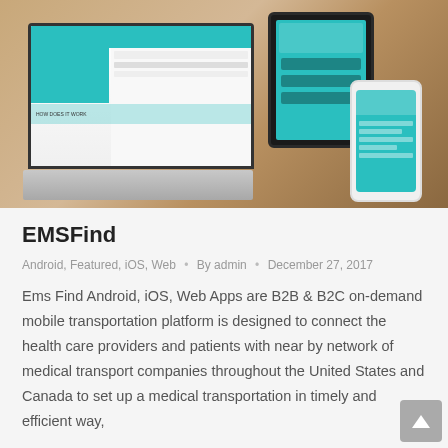[Figure (photo): Photo of a laptop, tablet, and smartphone on a wooden desk showing the EMSFind website/app interface with teal and white color scheme]
EMSFind
Android, Featured, iOS, Web • By admin • December 27, 2017
Ems Find Android, iOS, Web Apps are B2B & B2C on-demand mobile transportation platform is designed to connect the health care providers and patients with near by network of medical transport companies throughout the United States and Canada to set up a medical transportation in timely and efficient way,